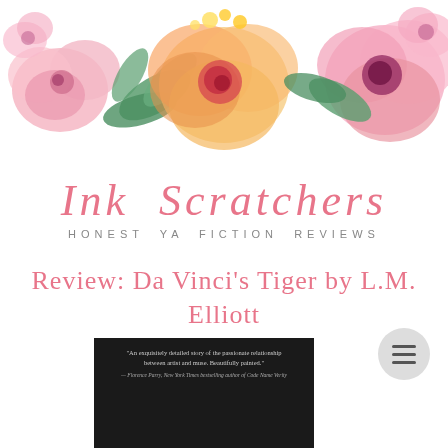[Figure (illustration): Watercolor floral banner with pink peonies, orange blooms, and green leaves arranged across the top of the page]
Ink Scratchers
HONEST YA FICTION REVIEWS
Review: Da Vinci's Tiger by L.M. Elliott
Saturday, 28 November 2015
[Figure (photo): Book cover of Da Vinci's Tiger showing a partial face at the bottom with dark background and a quote about the passionate relationship between artist and muse]